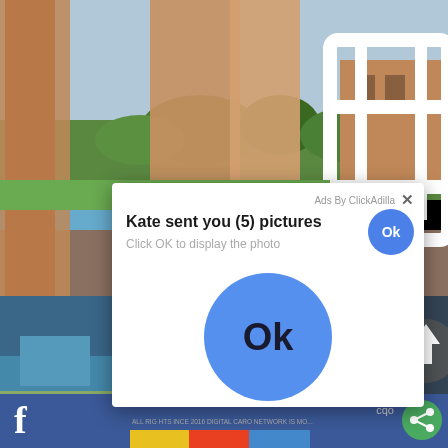[Figure (screenshot): Background photo of legs near a pool with a white plastic chair, outdoor setting with trees and buildings in the distance]
Ads By ClickAdilla
Kate sent you (5) pictures
Click OK to display the photo
[Figure (other): Large blue circular Ok button]
f
cqo